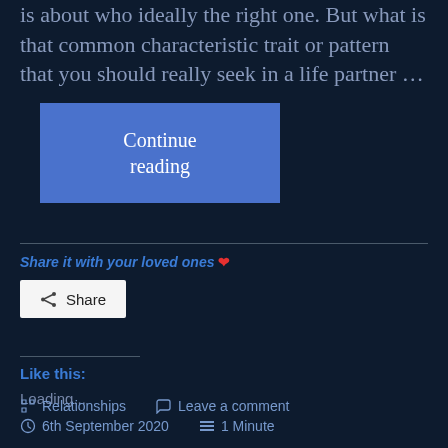is about who ideally the right one. But what is that common characteristic trait or pattern that you should really seek in a life partner …
Continue reading
Share it with your loved ones ❤
Share
Like this:
Loading...
Relationships  Leave a comment  6th September 2020  1 Minute